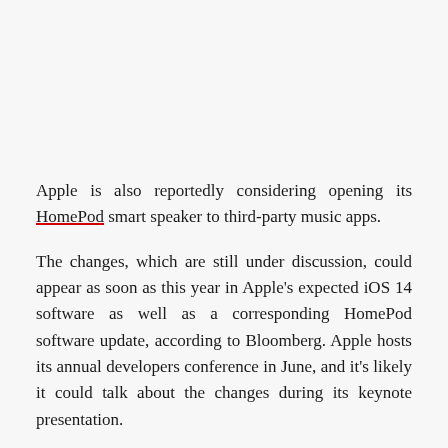Apple is also reportedly considering opening its HomePod smart speaker to third-party music apps.
The changes, which are still under discussion, could appear as soon as this year in Apple's expected iOS 14 software as well as a corresponding HomePod software update, according to Bloomberg. Apple hosts its annual developers conference in June, and it's likely it could talk about the changes during its keynote presentation.